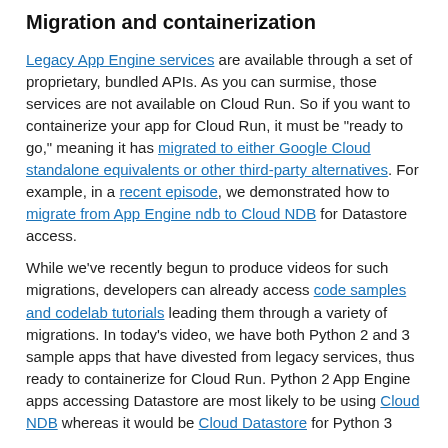Migration and containerization
Legacy App Engine services are available through a set of proprietary, bundled APIs. As you can surmise, those services are not available on Cloud Run. So if you want to containerize your app for Cloud Run, it must be "ready to go," meaning it has migrated to either Google Cloud standalone equivalents or other third-party alternatives. For example, in a recent episode, we demonstrated how to migrate from App Engine ndb to Cloud NDB for Datastore access.
While we've recently begun to produce videos for such migrations, developers can already access code samples and codelab tutorials leading them through a variety of migrations. In today's video, we have both Python 2 and 3 sample apps that have divested from legacy services, thus ready to containerize for Cloud Run. Python 2 App Engine apps accessing Datastore are most likely to be using Cloud NDB whereas it would be Cloud Datastore for Python 3